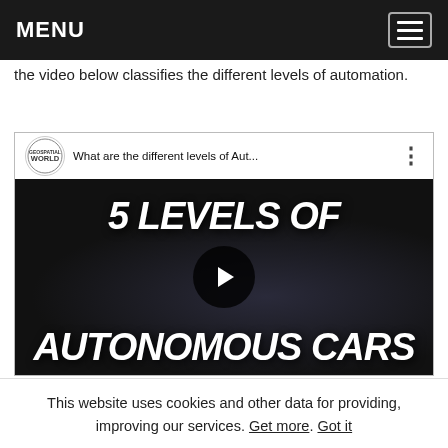MENU
the video below classifies the different levels of automation.
[Figure (screenshot): YouTube video thumbnail showing '5 LEVELS OF AUTONOMOUS CARS' with a dark car in background and a play button in center. Video title bar shows 'Geospatial World' logo and title 'What are the different levels of Aut...']
This website uses cookies and other data for providing, improving our services. Get more. Got it